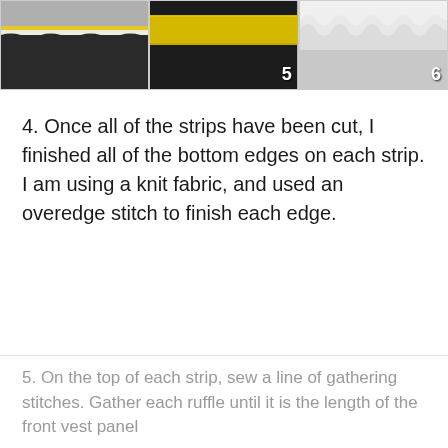[Figure (photo): Three photos of fabric/sewing project strips. Left photo shows knit fabric with yellow trim on black background. Middle photo labeled '5' shows yellow fabric strip. Right photo labeled '6' shows ruffled white/grey fabric.]
4. Once all of the strips have been cut, I finished all of the bottom edges on each strip. I am using a knit fabric, and used an overedge stitch to finish each edge.
5. On the top of each strip, sew a line of gathering stitches. Gather each ruffle until it is the length of the front vest panel